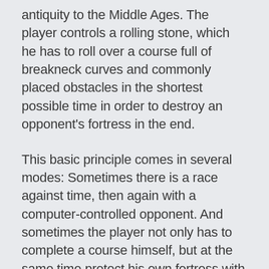antiquity to the Middle Ages. The player controls a rolling stone, which he has to roll over a course full of breakneck curves and commonly placed obstacles in the shortest possible time in order to destroy an opponent's fortress in the end.
This basic principle comes in several modes: Sometimes there is a race against time, then again with a computer-controlled opponent. And sometimes the player not only has to complete a course himself, but at the same time protect his own fortress with traps and obstacles.
Duel among friends